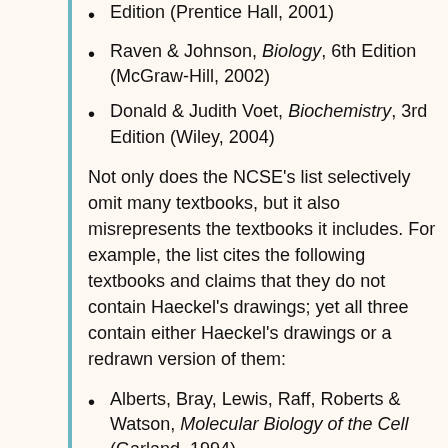Edition (Prentice Hall, 2001)
Raven & Johnson, Biology, 6th Edition (McGraw-Hill, 2002)
Donald & Judith Voet, Biochemistry, 3rd Edition (Wiley, 2004)
Not only does the NCSE's list selectively omit many textbooks, but it also misrepresents the textbooks it includes. For example, the list cites the following textbooks and claims that they do not contain Haeckel's drawings; yet all three contain either Haeckel's drawings or a redrawn version of them:
Alberts, Bray, Lewis, Raff, Roberts & Watson, Molecular Biology of the Cell (Garland, 1994)
Starr & Taggart, Biology: The Unity and Diversity of Life, 8th Edition (Wadsworth, 1998)